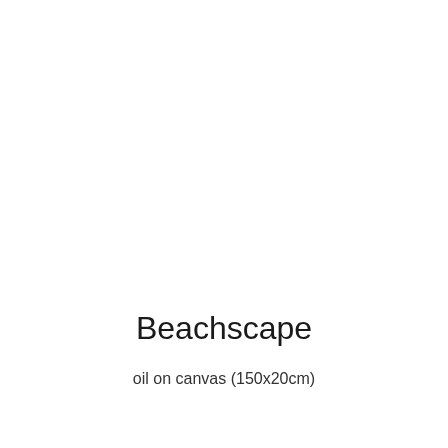Beachscape
oil on canvas (150x20cm)